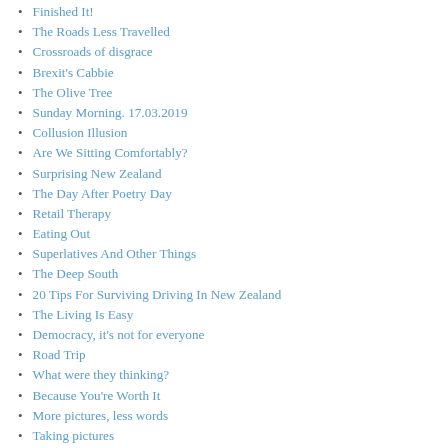Finished It!
The Roads Less Travelled
Crossroads of disgrace
Brexit's Cabbie
The Olive Tree
Sunday Morning. 17.03.2019
Collusion Illusion
Are We Sitting Comfortably?
Surprising New Zealand
The Day After Poetry Day
Retail Therapy
Eating Out
Superlatives And Other Things
The Deep South
20 Tips For Surviving Driving In New Zealand
The Living Is Easy
Democracy, it's not for everyone
Road Trip
What were they thinking?
Because You're Worth It
More pictures, less words
Taking pictures
Driving south in the North Island
A River runs through it
2014. A summary
Our 'other' stuff
Winner!